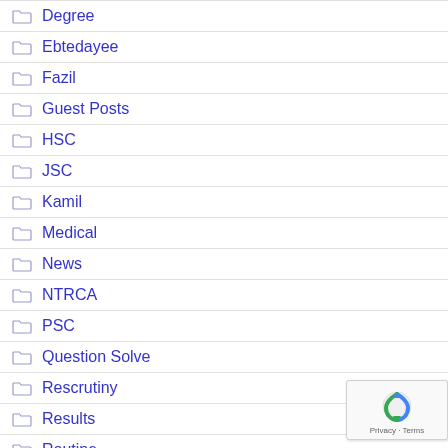Degree
Ebtedayee
Fazil
Guest Posts
HSC
JSC
Kamil
Medical
News
NTRCA
PSC
Question Solve
Rescrutiny
Results
Routine